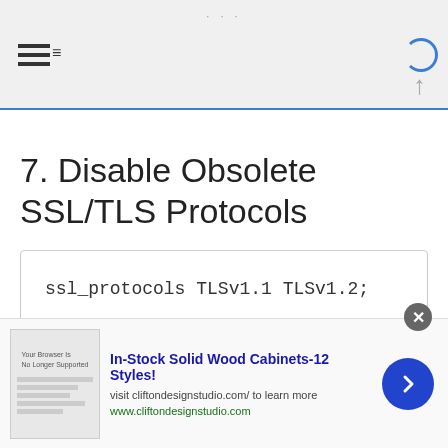[Figure (screenshot): Mobile browser navigation bar with hamburger menu icon, dots, loading circle indicator, and up arrow]
7. Disable Obsolete SSL/TLS Protocols
ssl_protocols TLSv1.1 TLSv1.2;
8. Enable HTTPS
[Figure (screenshot): Advertisement banner: In-Stock Solid Wood Cabinets-12 Styles! visit cliftondesignstudio.com/ to learn more. www.cliftondesignstudio.com]